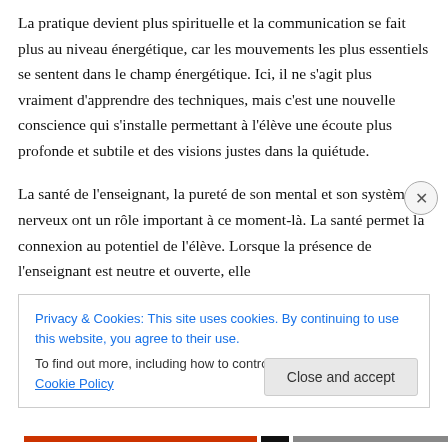La pratique devient plus spirituelle et la communication se fait plus au niveau énergétique, car les mouvements les plus essentiels se sentent dans le champ énergétique. Ici, il ne s'agit plus vraiment d'apprendre des techniques, mais c'est une nouvelle conscience qui s'installe permettant à l'élève une écoute plus profonde et subtile et des visions justes dans la quiétude.
La santé de l'enseignant, la pureté de son mental et son système nerveux ont un rôle important à ce moment-là. La santé permet la connexion au potentiel de l'élève. Lorsque la présence de l'enseignant est neutre et ouverte, elle
Privacy & Cookies: This site uses cookies. By continuing to use this website, you agree to their use.
To find out more, including how to control cookies, see here: Cookie Policy
Close and accept